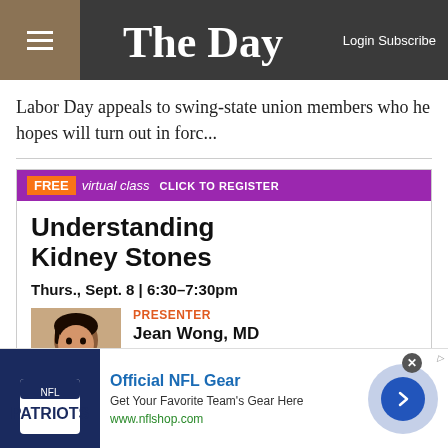The Day | Login Subscribe
Labor Day appeals to swing-state union members who he hopes will turn out in forc...
[Figure (screenshot): Advertisement for a free virtual class: Understanding Kidney Stones. Presenter Jean Wong, MD, Board certified Urologist, Backus Hospital. Thurs., Sept. 8 | 6:30-7:30pm]
[Figure (screenshot): Advertisement for Official NFL Gear - Get Your Favorite Team's Gear Here - www.nflshop.com]